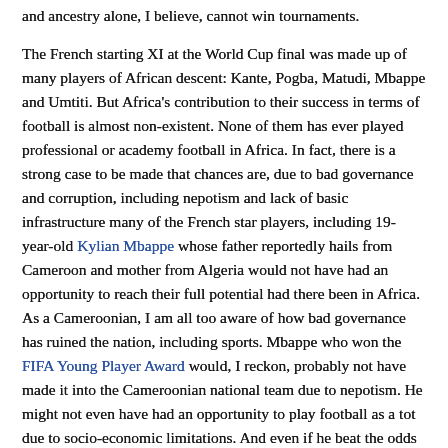and ancestry alone, I believe, cannot win tournaments.
The French starting XI at the World Cup final was made up of many players of African descent: Kante, Pogba, Matudi, Mbappe and Umtiti. But Africa's contribution to their success in terms of football is almost non-existent. None of them has ever played professional or academy football in Africa. In fact, there is a strong case to be made that chances are, due to bad governance and corruption, including nepotism and lack of basic infrastructure many of the French star players, including 19-year-old Kylian Mbappe whose father reportedly hails from Cameroon and mother from Algeria would not have had an opportunity to reach their full potential had there been in Africa. As a Cameroonian, I am all too aware of how bad governance has ruined the nation, including sports. Mbappe who won the FIFA Young Player Award would, I reckon, probably not have made it into the Cameroonian national team due to nepotism. He might not even have had an opportunity to play football as a tot due to socio-economic limitations. And even if he beat the odds and made it into the team, corruption would have stunted his development in the trade.
I would argue further that many Africans who recognize French